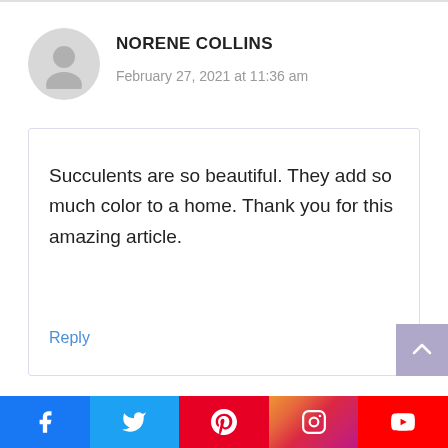[Figure (illustration): User avatar placeholder circle with person silhouette icon in gray]
NORENE COLLINS
February 27, 2021 at 11:36 am
Succulents are so beautiful. They add so much color to a home. Thank you for this amazing article.
Reply
[Figure (infographic): Social media share bar with icons for Facebook, Twitter, Pinterest, Instagram, YouTube]